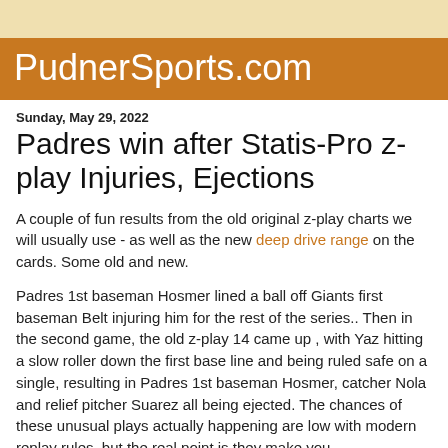PudnerSports.com
Sunday, May 29, 2022
Padres win after Statis-Pro z-play Injuries, Ejections
A couple of fun results from the old original z-play charts we will usually use - as well as the new deep drive range on the cards. Some old and new.
Padres 1st baseman Hosmer lined a ball off Giants first baseman Belt injuring him for the rest of the series.. Then in the second game, the old z-play 14 came up , with Yaz hitting a slow roller down the first base line and being ruled safe on a single, resulting in Padres 1st baseman Hosmer, catcher Nola and relief pitcher Suarez all being ejected. The chances of these unusual plays actually happening are low with modern replay rules, but the real point is they make you